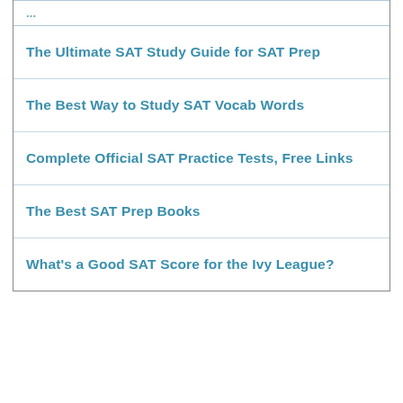The Ultimate SAT Study Guide for SAT Prep
The Best Way to Study SAT Vocab Words
Complete Official SAT Practice Tests, Free Links
The Best SAT Prep Books
What's a Good SAT Score for the Ivy League?